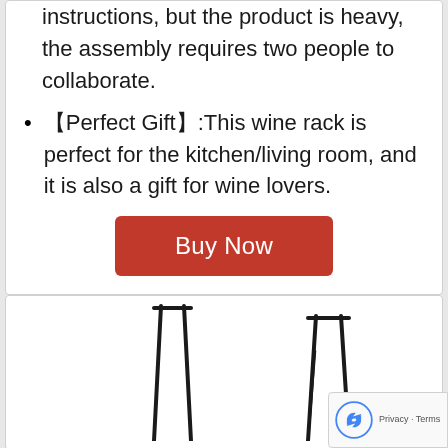instructions, but the product is heavy, the assembly requires two people to collaborate.
【Perfect Gift】:This wine rack is perfect for the kitchen/living room, and it is also a gift for wine lovers.
Buy Now
[Figure (photo): Product images showing wine rack components - two sets of vertical metal pole assemblies]